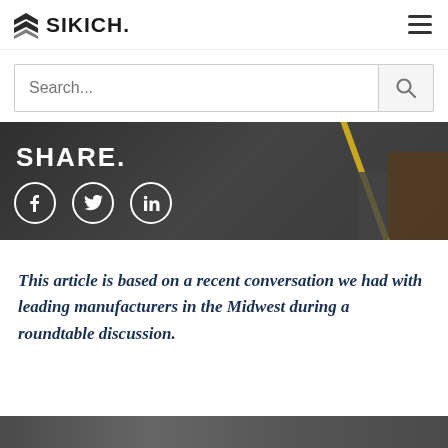SIKICH.
[Figure (screenshot): Search bar with placeholder text 'Search...' and a search icon button on the right]
[Figure (photo): Dark background industrial/warehouse photo with 'SHARE.' text in white bold, social media icons (Facebook, Twitter, LinkedIn) in circular white borders, and a yellow diagonal line]
This article is based on a recent conversation we had with leading manufacturers in the Midwest during a roundtable discussion.
[Figure (photo): Bottom strip of an industrial/warehouse photograph]